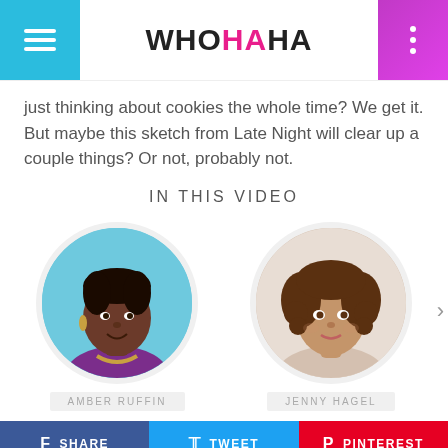WHOHAHA
just thinking about cookies the whole time? We get it. But maybe this sketch from Late Night will clear up a couple things? Or not, probably not.
IN THIS VIDEO
[Figure (photo): Circular profile photo of Amber Ruffin, a Black woman wearing a purple top and gold necklace against a blue background]
AMBER RUFFIN
[Figure (photo): Circular profile photo of Jenny Hagel, a white woman with curly brown hair against a light background]
JENNY HAGEL
SHARE  TWEET  PINTEREST